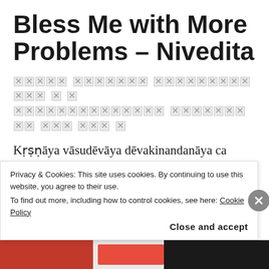Bless Me with More Problems – Nivedita
XXXXX XXXXXXX XXXXXXXXXXXX X X XXXXXXXXXXXXXX XXXXXXXXX XXX XXX X
Kṛṣṇāya vāsudēvāya dēvakinandanāya ca nandagōpakumārāya gōvindāya namō namaḥ
This popular shloka is from the collection of twenty six verses called Kunti Stuti in Srimad Bhagavatam. The highlight of Kunti Stuti is the
Privacy & Cookies: This site uses cookies. By continuing to use this website, you agree to their use.
To find out more, including how to control cookies, see here: Cookie Policy
Close and accept